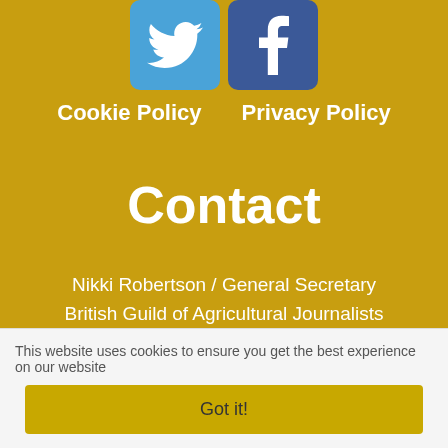[Figure (logo): Twitter bird logo icon in blue rounded square]
[Figure (logo): Facebook F logo icon in dark blue rounded square]
Cookie Policy    Privacy Policy
Contact
Nikki Robertson / General Secretary
British Guild of Agricultural Journalists
444 Westwood Heath Road
Coventry CV4 8AA

Tel: 07584 022909
Email: secretary@gaj.org.uk
Hours: 9.15am to 3pm, Monday to Thursday
Registered Address
This website uses cookies to ensure you get the best experience on our website